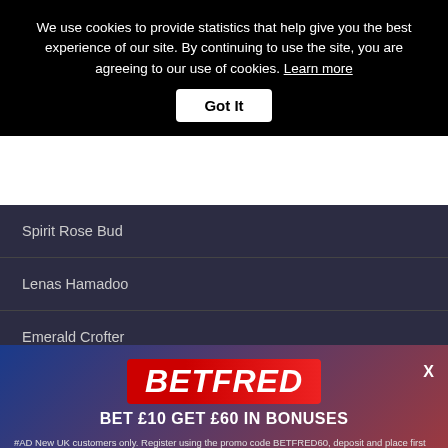We use cookies to provide statistics that help give you the best experience of our site. By continuing to use the site, you are agreeing to our use of cookies. Learn more
Got It
Spirit Rose Bud
Lenas Hamadoo
Emerald Crofter
[Figure (screenshot): Betfred advertisement overlay showing logo, promotional offer BET £10 GET £60 IN BONUSES, and terms and conditions text]